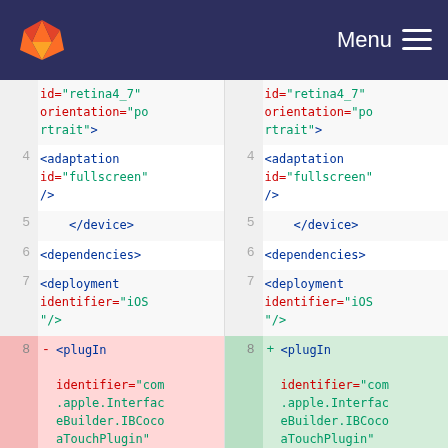[Figure (screenshot): GitLab navigation bar with orange fox logo on left and Menu hamburger icon on right, dark navy background]
Code diff view showing two columns of XML code. Left column (deleted, red background at line 8): lines 4-7 show <adaptation id="fullscreen" />, </device>, <dependencies>, <deployment identifier="iOS" />, line 8 shows - <plugIn identifier="com.apple.InterfaceBuilder.IBCocoaTouchPlugin" version="12088". Right column (added, green background at line 8): same lines 4-7 with same content, line 8 shows + <plugIn identifier="com.apple.InterfaceBuilder.IBCocoaTouchPlugin" version="13174"